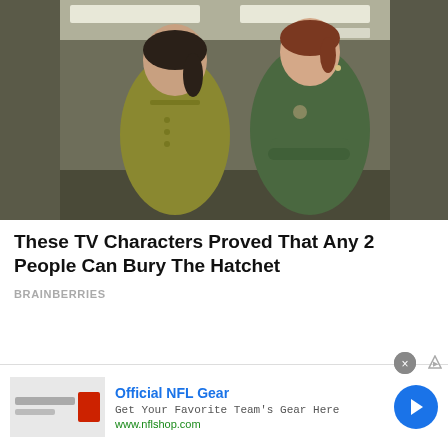[Figure (photo): Two women standing in an office hallway. The woman on the left wears an olive/yellow-green polo shirt and has dark hair in a ponytail. The woman on the right wears a dark green short-sleeve dress with arms crossed and has auburn hair. Fluorescent ceiling lights visible in background.]
These TV Characters Proved That Any 2 People Can Bury The Hatchet
BRAINBERRIES
[Figure (infographic): Advertisement banner for Official NFL Gear. Contains a thumbnail image of NFL merchandise, the text 'Official NFL Gear', 'Get Your Favorite Team's Gear Here', 'www.nflshop.com', and a blue circle arrow button on the right. A gray X close button and a small triangular ad indicator are at the top right.]